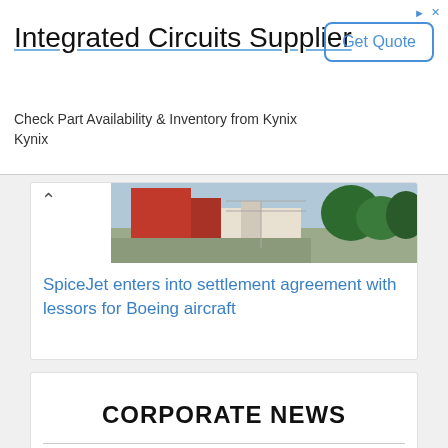[Figure (other): Advertisement banner for Integrated Circuits Supplier - Kynix, with Get Quote button]
[Figure (photo): Construction or industrial site photograph with red equipment and green trees]
SpiceJet enters into settlement agreement with lessors for Boeing aircraft
CORPORATE NEWS
[Figure (logo): Telecom Regulatory Authority of India - Ashoka Emblem logo]
Telecom Regulatory Authority of India